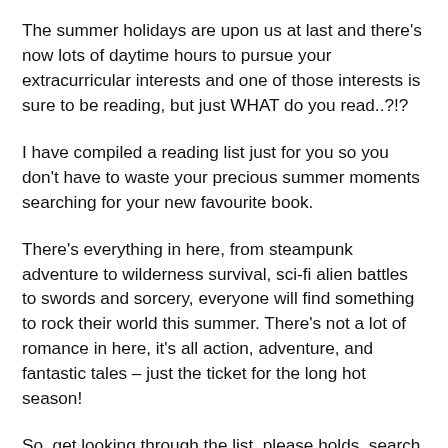The summer holidays are upon us at last and there's now lots of daytime hours to pursue your extracurricular interests and one of those interests is sure to be reading, but just WHAT do you read..?!?
I have compiled a reading list just for you so you don't have to waste your precious summer moments searching for your new favourite book.
There's everything in here, from steampunk adventure to wilderness survival, sci-fi alien battles to swords and sorcery, everyone will find something to rock their world this summer. There's not a lot of romance in here, it's all action, adventure, and fantastic tales – just the ticket for the long hot season!
So, get looking through the list, please holds, search your...